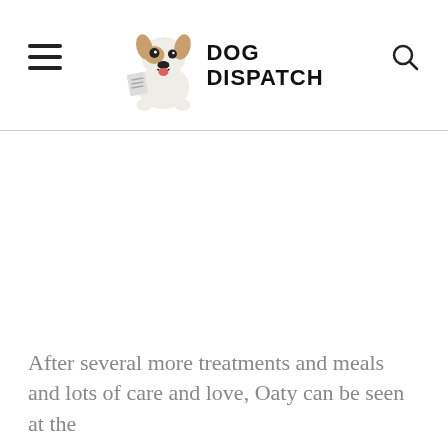DOG DISPATCH
After several more treatments and meals and lots of care and love, Oaty can be seen at the